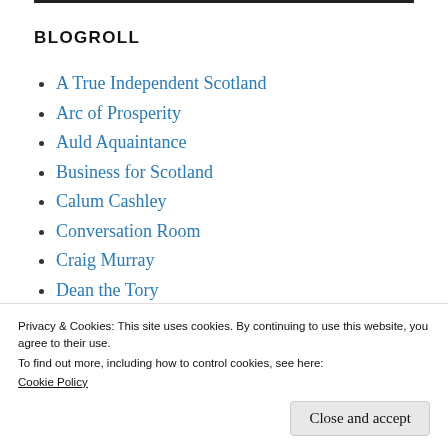BLOGROLL
A True Independent Scotland
Arc of Prosperity
Auld Aquaintance
Business for Scotland
Calum Cashley
Conversation Room
Craig Murray
Dean the Tory
Privacy & Cookies: This site uses cookies. By continuing to use this website, you agree to their use.
To find out more, including how to control cookies, see here:
Cookie Policy
John Brownlie